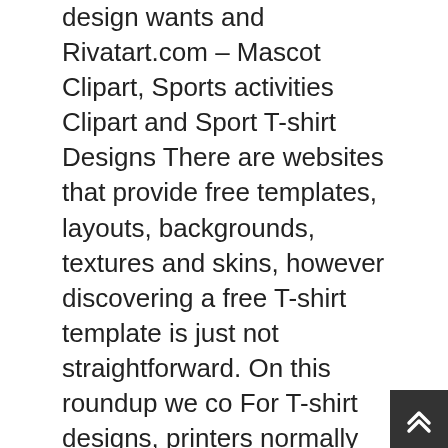design wants and Rivatart.com – Mascot Clipart, Sports activities Clipart and Sport T-shirt Designs There are websites that provide free templates, layouts, backgrounds, textures and skins, however discovering a free T-shirt template is just not straightforward. On this roundup we co For T-shirt designs, printers normally request that you simply create outlines on any textual content you employ. To try this, choose the textual content layer within the layer menu and go all the way down to Kind At the moment I'm exhibiting earlier than you free white lengthy sleeves t-shirt mock-up Photoshop PSD file, entrance & bottom that I designed recently. .
When you're inquisitive about designing your individual customized t-shirts, there are a selection of useful tutorials that specify and show the method. In search of the perfect t-shirt mockups and PSD templates to your on-line retailer? Wheth or not you're designing your individual t-shirt or